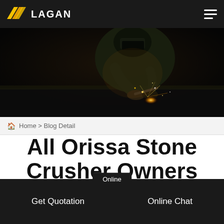LAGAN
[Figure (photo): A welder working in a dark industrial environment, with bright welding sparks illuminating the scene. The worker wears protective gear including a welding mask.]
Home > Blog Detail
All Orissa Stone Crusher Owners
Online | Get Quotation | Online Chat